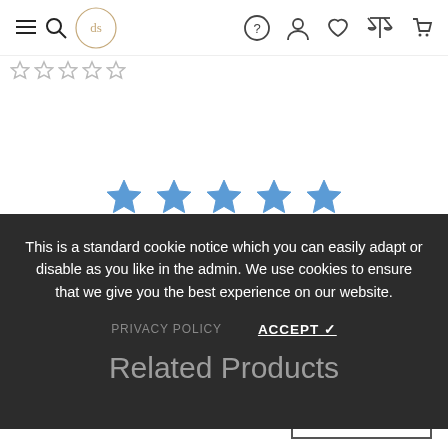Navigation header with menu/search icon, logo, help, account, wishlist, compare, cart icons
[Figure (other): Five small grey star rating icons in a row]
[Figure (other): Five large blue filled star icons for product rating]
This is a standard cookie notice which you can easily adapt or disable as you like in the admin. We use cookies to ensure that we give you the best experience on our website.
PRIVACY POLICY   ACCEPT ✓
Related Products
$28.00
S  ∨
ADD TO CART